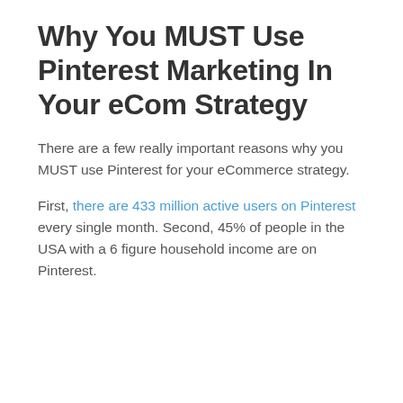Why You MUST Use Pinterest Marketing In Your eCom Strategy
There are a few really important reasons why you MUST use Pinterest for your eCommerce strategy.
First, there are 433 million active users on Pinterest every single month. Second, 45% of people in the USA with a 6 figure household income are on Pinterest.